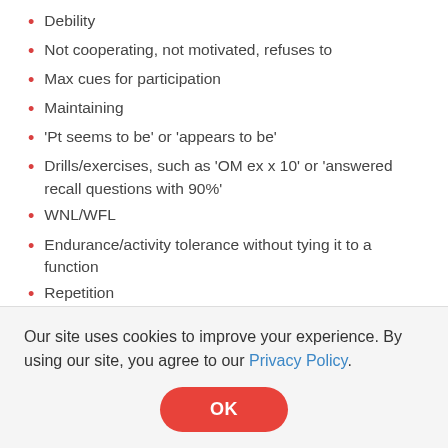Debility
Not cooperating, not motivated, refuses to
Max cues for participation
Maintaining
'Pt seems to be' or 'appears to be'
Drills/exercises, such as 'OM ex x 10' or 'answered recall questions with 90%'
WNL/WFL
Endurance/activity tolerance without tying it to a function
Repetition
Unable to learn/inability to retain info
General terms like 'good/fair/poor'
We see phrases like  'Doing well, doing okay, doing
Our site uses cookies to improve your experience. By using our site, you agree to our Privacy Policy.